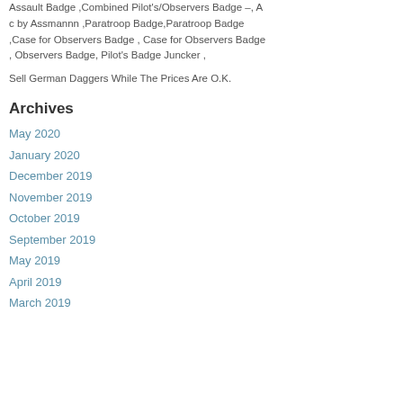Assault Badge ,Combined Pilot's/Observers Badge –, A c by Assmannn ,Paratroop Badge,Paratroop Badge ,Case for Observers Badge , Case for Observers Badge , Observers Badge, Pilot's Badge Juncker ,
Sell German Daggers While The Prices Are O.K.
Archives
May 2020
January 2020
December 2019
November 2019
October 2019
September 2019
May 2019
April 2019
March 2019